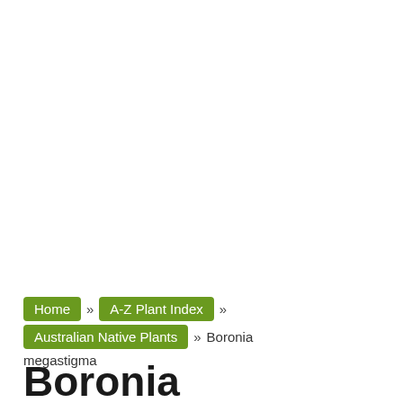Home » A-Z Plant Index » Australian Native Plants » Boronia megastigma
Boronia megastigma